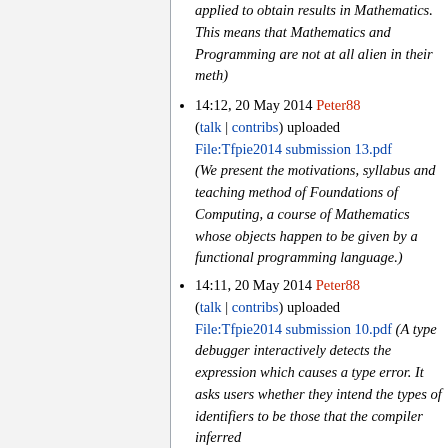applied to obtain results in Mathematics. This means that Mathematics and Programming are not at all alien in their meth)
14:12, 20 May 2014 Peter88 (talk | contribs) uploaded File:Tfpie2014 submission 13.pdf (We present the motivations, syllabus and teaching method of Foundations of Computing, a course of Mathematics whose objects happen to be given by a functional programming language.)
14:11, 20 May 2014 Peter88 (talk | contribs) uploaded File:Tfpie2014 submission 10.pdf (A type debugger interactively detects the expression which causes a type error. It asks users whether they intend the types of identifiers to be those that the compiler inferred